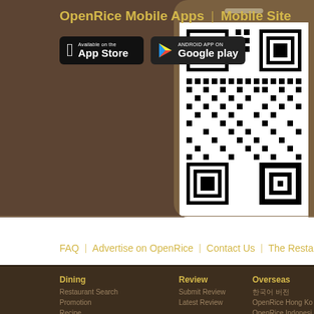OpenRice Mobile Apps | Mobile Site
[Figure (screenshot): App Store and Google Play badges for OpenRice mobile app download, with a phone mockup containing a QR code on the right side]
Publicity and Promotions
FAQ | Advertise on OpenRice | Contact Us | The Resta...
Dining
Restaurant Search
Promotion
Recipe
Submit Restaurant Info
Review
Submit Review
Latest Review
Gourmet
My OpenRice
Member Registration
Overseas
한국어 버전
OpenRice Hong Kong
OpenRice Indonesia
OpenRice Malaysia
OpenRice Philippines
OpenRice Singapore
日本語 版
OpenRice Thailand